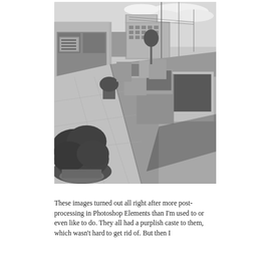[Figure (photo): Black and white photograph of an urban street scene. Shows a sidewalk on the left with storefront buildings, parked cars along the street, a large potted bush/shrub in the foreground on the left, and city buildings receding into the background. The perspective is from ground level looking up the street.]
These images turned out all right after more post-processing in Photoshop Elements than I'm used to or even like to do. They all had a purplish caste to them, which wasn't hard to get rid of. But then I